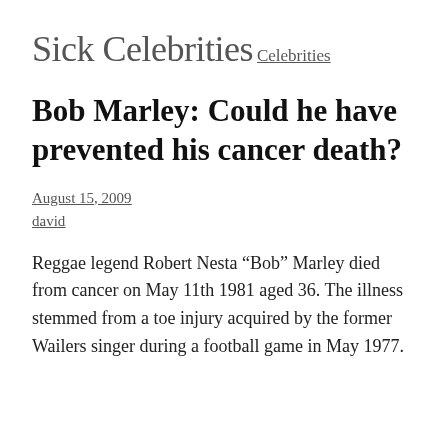Sick Celebrities
Celebrities
Bob Marley: Could he have prevented his cancer death?
August 15, 2009
david
Reggae legend Robert Nesta “Bob” Marley died from cancer on May 11th 1981 aged 36. The illness stemmed from a toe injury acquired by the former Wailers singer during a football game in May 1977.